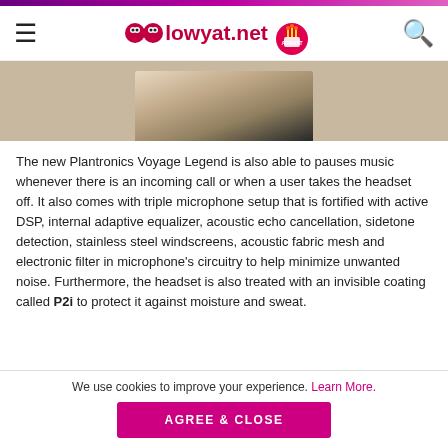lowyat.net
[Figure (photo): Partial image of a person using a Plantronics headset, cropped at bottom of header area]
The new Plantronics Voyage Legend is also able to pauses music whenever there is an incoming call or when a user takes the headset off. It also comes with triple microphone setup that is fortified with active DSP, internal adaptive equalizer, acoustic echo cancellation, sidetone detection, stainless steel windscreens, acoustic fabric mesh and electronic filter in microphone’s circuitry to help minimize unwanted noise. Furthermore, the headset is also treated with an invisible coating called P2i to protect it against moisture and sweat.
We use cookies to improve your experience. Learn More.
AGREE & CLOSE